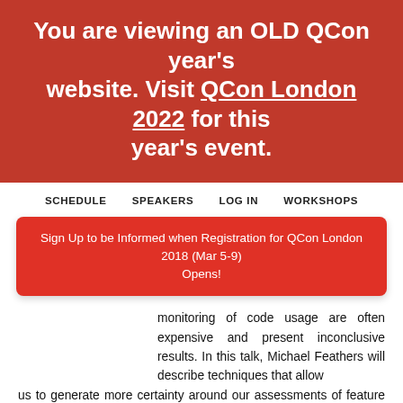You are viewing an OLD QCon year's website. Visit QCon London 2022 for this year's event.
SCHEDULE   SPEAKERS   LOG IN   WORKSHOPS
Sign Up to be Informed when Registration for QCon London 2018 (Mar 5-9) Opens!
monitoring of code usage are often expensive and present inconclusive results. In this talk, Michael Feathers will describe techniques that allow us to generate more certainty around our assessments of feature liveness, and strategies that can be used to remove code that does not have high value.